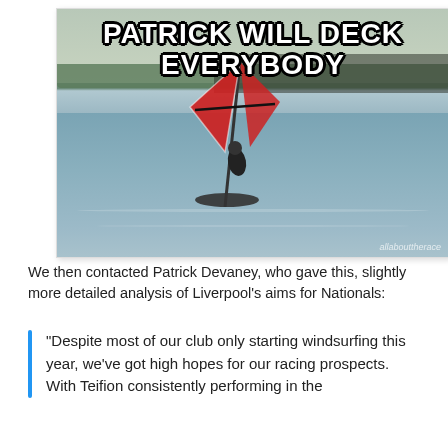[Figure (photo): A windsurfer on a lake with a red and white sail, with a crowd of spectators visible on the far shore. A meme overlay reads 'PATRICK WILL DECK EVERYBODY' in white Impact font with black outline.]
We then contacted Patrick Devaney, who gave this, slightly more detailed analysis of Liverpool's aims for Nationals:
"Despite most of our club only starting windsurfing this year, we've got high hopes for our racing prospects.
With Teifion consistently performing in the